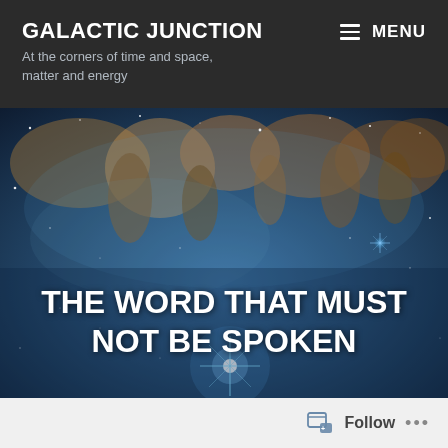GALACTIC JUNCTION
At the corners of time and space, matter and energy
[Figure (photo): Space nebula photograph showing cosmic dust pillars and bright stars against a blue-toned background with the text overlay 'THE WORD THAT MUST NOT BE SPOKEN']
THE WORD THAT MUST NOT BE SPOKEN
Follow ...